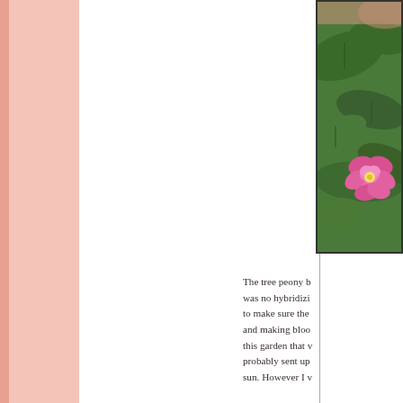[Figure (photo): A pink flower (tree peony) blooming among green leaves, partially visible as a cropped photo in the upper right corner of the page.]
The tree peony b... was no hybridizi... to make sure the... and making bloo... this garden that v... probably sent up... sun. However I v...